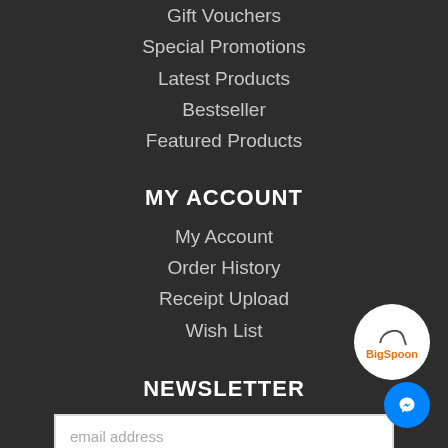Gift Vouchers
Special Promotions
Latest Products
Bestseller
Featured Products
MY ACCOUNT
My Account
Order History
Receipt Upload
Wish List
NEWSLETTER
email address
Subscribe
[Figure (logo): BigSpoon circular logo with spoon icon and orange text]